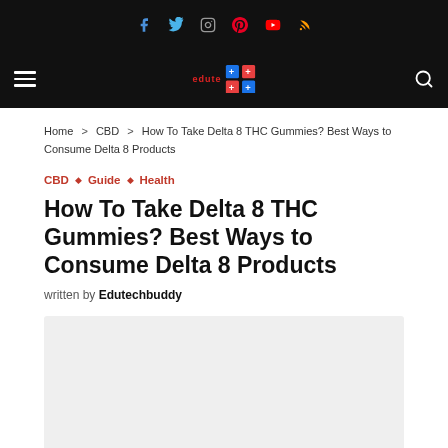Social icons bar: Facebook, Twitter, Instagram, Pinterest, YouTube, RSS
Navigation bar with hamburger menu, logo (Edutechbuddy), and search icon
Home > CBD > How To Take Delta 8 THC Gummies? Best Ways to Consume Delta 8 Products
CBD ◇ Guide ◇ Health
How To Take Delta 8 THC Gummies? Best Ways to Consume Delta 8 Products
written by Edutechbuddy
[Figure (photo): Light gray image placeholder for featured article image]